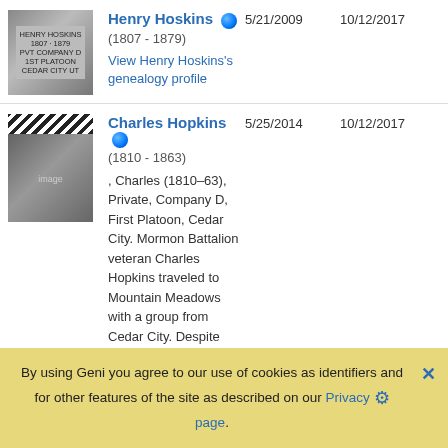Henry Hoskins (1807 - 1879) 5/21/2009 10/12/2017 View Henry Hoskins's genealogy profile
Charles Hopkins (1810 - 1863) 5/25/2014 10/12/2017 , Charles (1810–63), Private, Company D, First Platoon, Cedar City. Mormon Battalion veteran Charles Hopkins traveled to Mountain Meadows with a group from Cedar City. Despite being only a private, Hop... View Charles
By using Geni you agree to our use of cookies as identifiers and for other features of the site as described on our Privacy page.